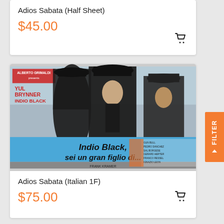Adios Sabata (Half Sheet)
$45.00
[Figure (illustration): Movie poster for Adios Sabata (Italian 1F) showing Yul Brynner as Indio Black with text 'Indio Black, sei un gran figlio di...' on a blue banner, with western scenes below]
Adios Sabata (Italian 1F)
$75.00